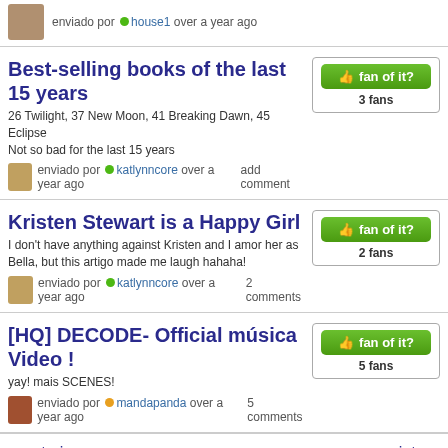enviado por house1 over a year ago
Best-selling books of the last 15 years
26 Twilight, 37 New Moon, 41 Breaking Dawn, 45 Eclipse Not so bad for the last 15 years
enviado por katlynncore over a year ago
3 fans
add comment
Kristen Stewart is a Happy Girl
I don't have anything against Kristen and I amor her as Bella, but this artigo made me laugh hahaha!
enviado por katlynncore over a year ago
2 fans
2 comments
[HQ] DECODE- Official música Video !
yay! mais SCENES!
enviado por mandapanda over a year ago
5 fans
5 comments
« anterior ... 1315 1316 1317 1318 1319 1320 1321 1322 1323 1324 1325 1326 1327 1328 1329 1330 1331 1332 1333 1334 1335 1336 1337 1338 1339 1340 1341 1342 1343 1344 1345 1346 1347 1348 1349 1350 1351 1352 1353 1354 1355 1356 1357 1358 1359 1360 1361 1362 1363 seguinte »